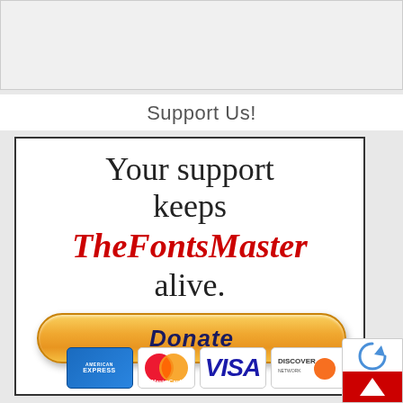[Figure (other): Gray top bar area]
Support Us!
[Figure (infographic): Donation banner reading 'Your support keeps TheFontsMaster alive.' with a yellow PayPal-style Donate button and payment icons (American Express, MasterCard, Visa, Discover)]